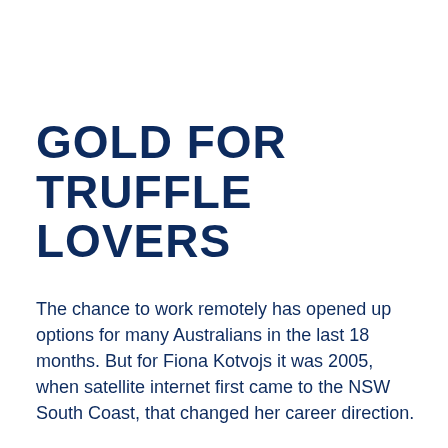GOLD FOR TRUFFLE LOVERS
The chance to work remotely has opened up options for many Australians in the last 18 months. But for Fiona Kotvojs it was 2005, when satellite internet first came to the NSW South Coast, that changed her career direction.